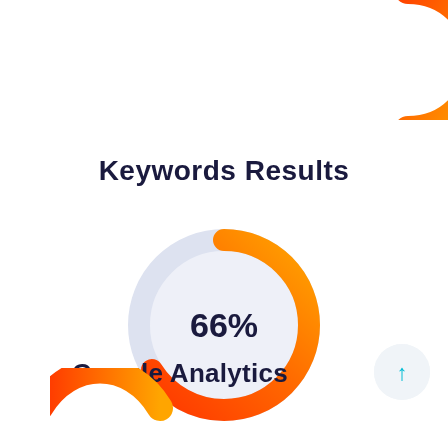Keywords Results
[Figure (donut-chart): Keywords Results]
Google Analytics